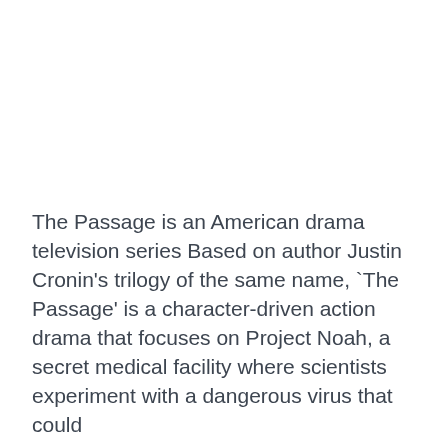The Passage is an American drama television series Based on author Justin Cronin's trilogy of the same name, `The Passage' is a character-driven action drama that focuses on Project Noah, a secret medical facility where scientists experiment with a dangerous virus that could